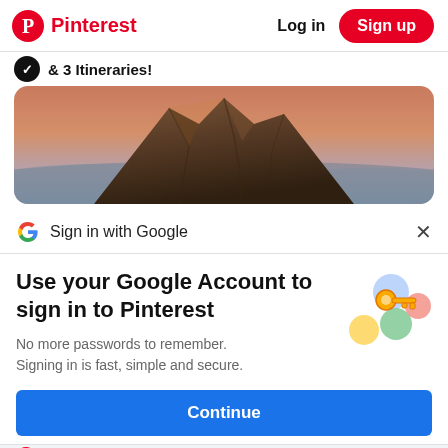Pinterest  Log in  Sign up
& 3 Itineraries!
[Figure (photo): Mountain peak at sunset with pink and purple sky, inside a rounded rectangle image card]
Sign in with Google
Use your Google Account to sign in to Pinterest
No more passwords to remember. Signing in is fast, simple and secure.
[Figure (illustration): Google sign-in illustration with a key and colorful circles]
Continue